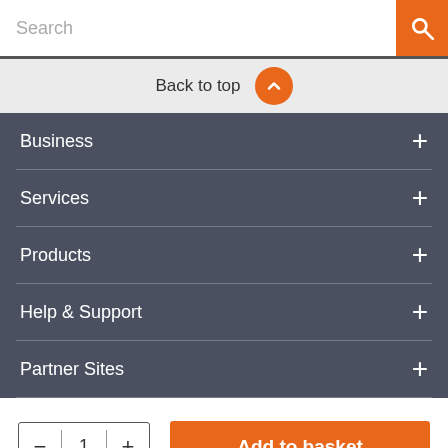[Figure (screenshot): Search bar with text input showing 'Search' placeholder and orange search button with magnifying glass icon]
Back to top
Business
Services
Products
Help & Support
Partner Sites
[Figure (screenshot): Quantity selector showing minus button, 1, plus button; and orange 'Add to basket' button]